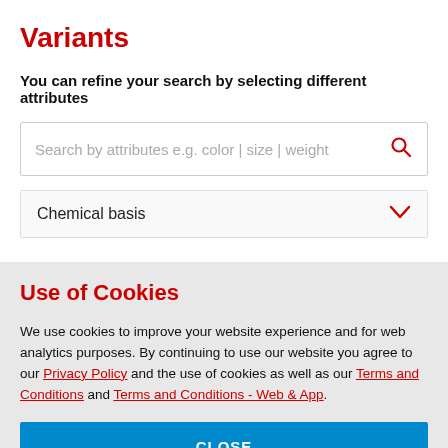Variants
You can refine your search by selecting different attributes
[Figure (screenshot): Search input box with placeholder text 'Search by attributes e.g. color | size | weight' and a red search icon on the right]
[Figure (screenshot): Dropdown selector labeled 'Chemical basis' with a red chevron/arrow on the right]
Use of Cookies
We use cookies to improve your website experience and for web analytics purposes. By continuing to use our website you agree to our Privacy Policy and the use of cookies as well as our Terms and Conditions and Terms and Conditions - Web & App.
CLOSE